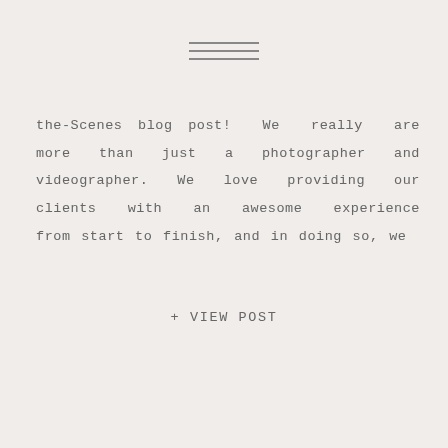[Figure (other): Hamburger menu icon with three horizontal lines]
the-Scenes blog post! We really are more than just a photographer and videographer. We love providing our clients with an awesome experience from start to finish, and in doing so, we
+ VIEW POST